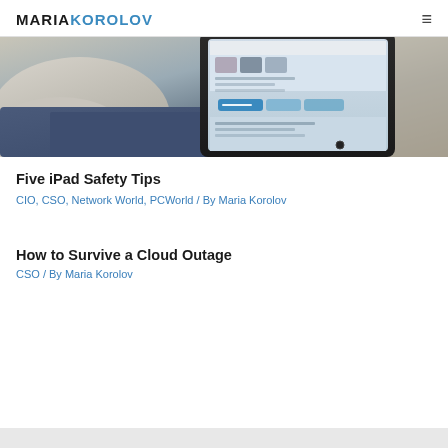MARIAKOROLOV
[Figure (photo): Person holding an iPad/tablet device, showing a social media or app interface on screen, wearing a grey sweater, sitting with jeans visible]
Five iPad Safety Tips
CIO, CSO, Network World, PCWorld / By Maria Korolov
How to Survive a Cloud Outage
CSO / By Maria Korolov